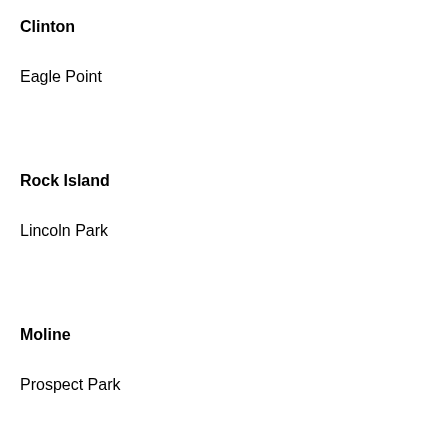Clinton
Eagle Point
Rock Island
Lincoln Park
Moline
Prospect Park